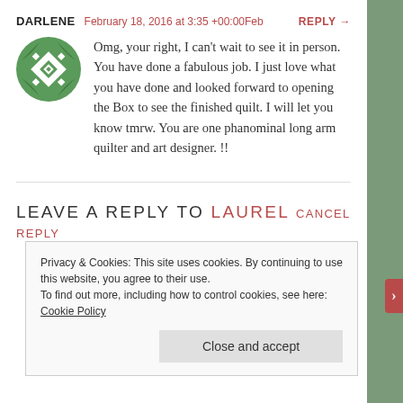DARLENE  February 18, 2016 at 3:35 +00:00Feb  REPLY →
Omg, your right, I can't wait to see it in person. You have done a fabulous job. I just love what you have done and looked forward to opening the Box to see the finished quilt. I will let you know tmrw. You are one phanominal long arm quilter and art designer. !!
LEAVE A REPLY TO LAUREL CANCEL REPLY
Privacy & Cookies: This site uses cookies. By continuing to use this website, you agree to their use. To find out more, including how to control cookies, see here: Cookie Policy
Close and accept